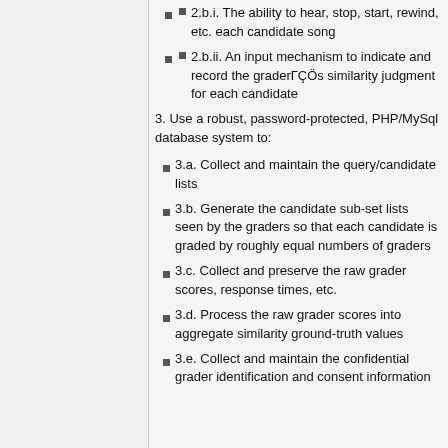2.b.i. The ability to hear, stop, start, rewind, etc. each candidate song
2.b.ii. An input mechanism to indicate and record the graderГÇÖs similarity judgment for each candidate
3. Use a robust, password-protected, PHP/MySql database system to:
3.a. Collect and maintain the query/candidate lists
3.b. Generate the candidate sub-set lists seen by the graders so that each candidate is graded by roughly equal numbers of graders
3.c. Collect and preserve the raw grader scores, response times, etc.
3.d. Process the raw grader scores into aggregate similarity ground-truth values
3.e. Collect and maintain the confidential grader identification and consent information